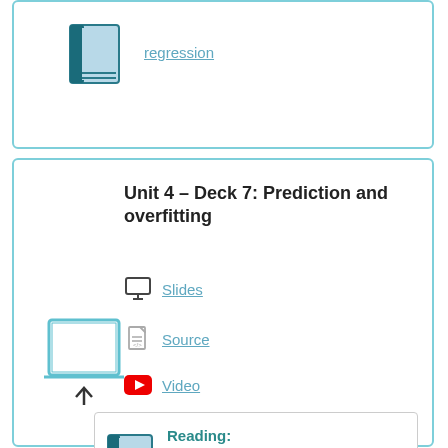[Figure (illustration): Book icon with teal cover]
regression (link)
Unit 4 – Deck 7: Prediction and overfitting
Slides (link with monitor icon)
Source (link with file icon)
Video (link with YouTube icon)
[Figure (illustration): Laptop/presentation screen icon]
[Figure (illustration): Book icon with teal cover for reading section]
Reading: tidymodels :: Build a model